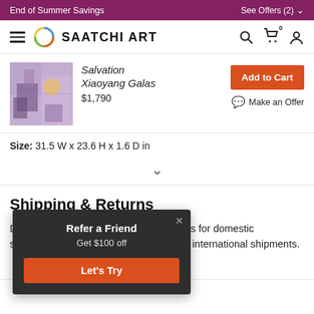End of Summer Savings    See Offers (2)
[Figure (logo): Saatchi Art logo with circular rainbow ring and bold SAATCHI ART text]
Salvation
Xiaoyang Galas
$1,790
Add to Cart
Make an Offer
Size: 31.5 W x 23.6 H x 1.6 D in
Shipping & Returns
...ally 5-7 business days for domestic shipments...business days for international shipments.
Refer a Friend
Get $100 off
Let's Try